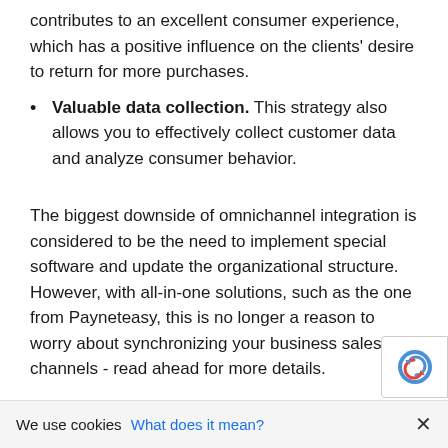contributes to an excellent consumer experience, which has a positive influence on the clients' desire to return for more purchases.
Valuable data collection. This strategy also allows you to effectively collect customer data and analyze consumer behavior.
The biggest downside of omnichannel integration is considered to be the need to implement special software and update the organizational structure. However, with all-in-one solutions, such as the one from Payneteasy, this is no longer a reason to worry about synchronizing your business sales channels - read ahead for more details.
An example of an omnichannel brand that demonstrates an excellent job managing its online and offline channels as one inseparable mechanism is Zumiez. It's a US clothing retailer that offers its customers items for sports like snowboarding, skateboarding, and motocross.
We use cookies What does it mean? X